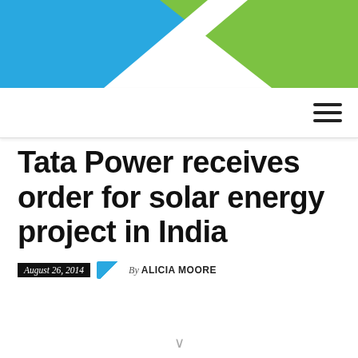[Figure (illustration): Decorative header graphic with blue and green diagonal color blocks on white background]
Tata Power receives order for solar energy project in India
August 26, 2014  By ALICIA MOORE